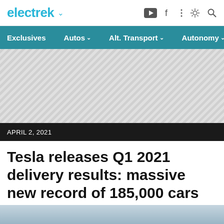electrek
Exclusives | Autos | Alt. Transport | Autonomy
[Figure (other): Gray hatched advertisement placeholder area]
APRIL 2, 2021
Tesla releases Q1 2021 delivery results: massive new record of 185,000 cars
Fred Lambert - Apr. 2nd 2021 8:59 am PT @FredericLambert
[Figure (photo): Bottom image strip showing partial vehicle/sky photo]